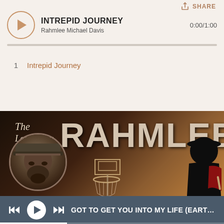[Figure (screenshot): Share button icon at top right]
SHARE
[Figure (screenshot): Circular play button for Intrepid Journey by Rahmlee Michael Davis]
INTREPID JOURNEY
Rahmlee Michael Davis
0:00/1:00
1   Intrepid Journey
[Figure (photo): Album art for The Legendary Rahmlee showing artist portrait in circle, basketball hoop, and silhouette figure on dark background with text 'The Legendary RAHMLEE']
GOT TO GET YOU INTO MY LIFE (EARTH, WIND & F